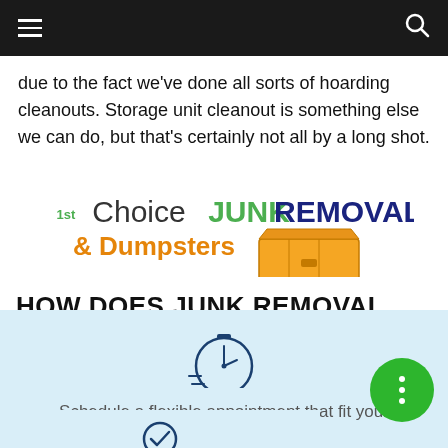Navigation bar with hamburger menu and search icon
due to the fact we've done all sorts of hoarding cleanouts. Storage unit cleanout is something else we can do, but that's certainly not all by a long shot.
[Figure (logo): 1st Choice JUNK REMOVAL & Dumpsters logo with orange dumpster graphic]
HOW DOES JUNK REMOVAL WORK?
[Figure (illustration): Stopwatch/speed icon in dark blue outline style]
Schedule a flexible appointment that fit your schedule (Same Day Appointments Available!)